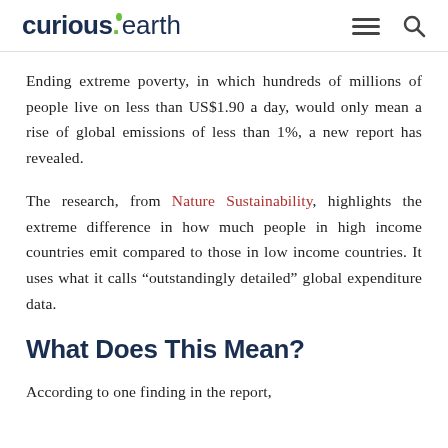curious.earth
Ending extreme poverty, in which hundreds of millions of people live on less than US$1.90 a day, would only mean a rise of global emissions of less than 1%, a new report has revealed.
The research, from Nature Sustainability, highlights the extreme difference in how much people in high income countries emit compared to those in low income countries. It uses what it calls “outstandingly detailed” global expenditure data.
What Does This Mean?
According to one finding in the report,